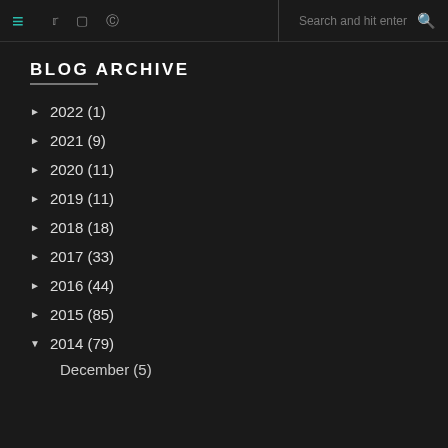≡  Twitter  Instagram  Pinterest  |  Search and hit enter  🔍
BLOG ARCHIVE
► 2022 (1)
► 2021 (9)
► 2020 (11)
► 2019 (11)
► 2018 (18)
► 2017 (33)
► 2016 (44)
► 2015 (85)
▼ 2014 (79)
December (5)